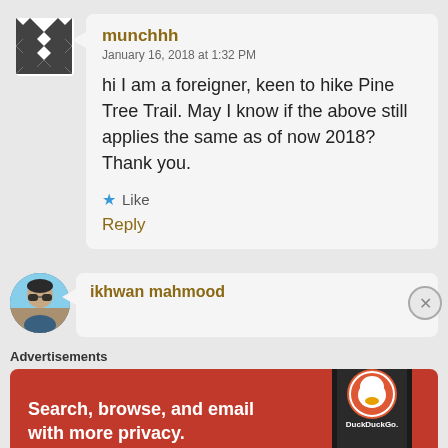[Figure (illustration): Diamond/checkerboard pattern avatar for user munchhh]
munchhh
January 16, 2018 at 1:32 PM
hi I am a foreigner, keen to hike Pine Tree Trail. May I know if the above still applies the same as of now 2018? Thank you.
★ Like
Reply
[Figure (photo): Profile photo of ikhwan mahmood, man wearing sunglasses]
ikhwan mahmood
Advertisements
[Figure (illustration): DuckDuckGo advertisement banner. Text: Search, browse, and email with more privacy. All in One Free App. DuckDuckGo logo and phone mockup shown.]